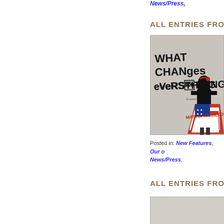News/Press,
ALL ENTRIES FROM
[Figure (photo): Book cover of 'What Changes Everything' by Masha Hamilton. Shows graffiti-style text on a gray wall with a stylized illustration of a woman wearing an American flag skirt.]
Posted in: New Features, Our o... News/Press,
ALL ENTRIES FROM
[Figure (photo): Partial book cover image at bottom of page, mostly cut off.]